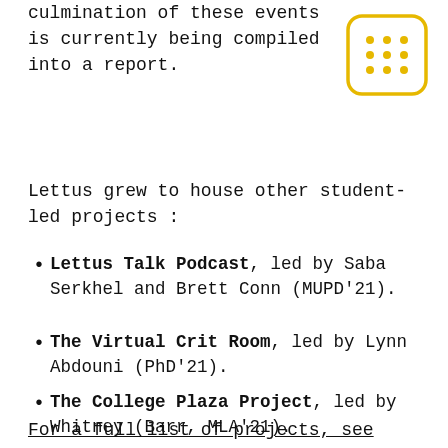culmination of these events is currently being compiled into a report.
[Figure (illustration): Rounded square icon with a 3x3 grid of yellow/gold dots on white background with yellow border]
Lettus grew to house other student-led projects :
Lettus Talk Podcast, led by Saba Serkhel and Brett Conn (MUPD'21).
The Virtual Crit Room, led by Lynn Abdouni (PhD'21).
The College Plaza Project, led by Whitney (Barr, MLA'21).
The CED Caffeine Coffee Cart, led by Nora Gellona-Wagoner (BLA'23).
For a full list of projects, see